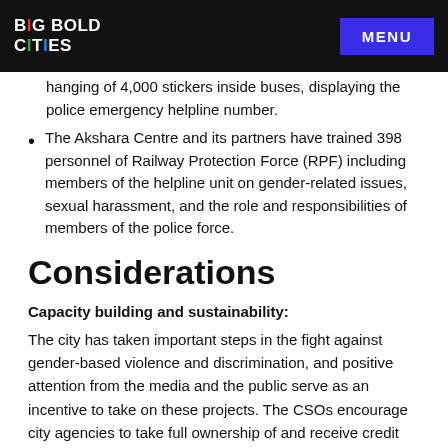BIG BOLD CITIES | MENU
hanging of 4,000 stickers inside buses, displaying the police emergency helpline number.
The Akshara Centre and its partners have trained 398 personnel of Railway Protection Force (RPF) including members of the helpline unit on gender-related issues, sexual harassment, and the role and responsibilities of members of the police force.
Considerations
Capacity building and sustainability:
The city has taken important steps in the fight against gender-based violence and discrimination, and positive attention from the media and the public serve as an incentive to take on these projects. The CSOs encourage city agencies to take full ownership of and receive credit for